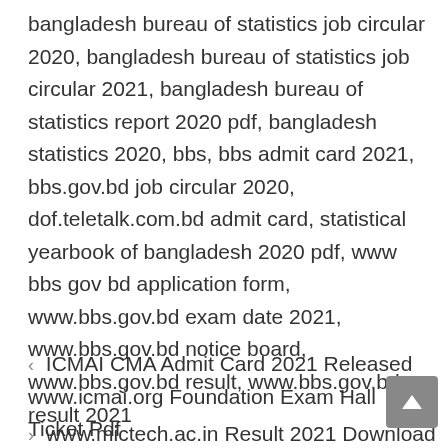bangladesh bureau of statistics job circular 2020, bangladesh bureau of statistics job circular 2021, bangladesh bureau of statistics report 2020 pdf, bangladesh statistics 2020, bbs, bbs admit card 2021, bbs.gov.bd job circular 2020, dof.teletalk.com.bd admit card, statistical yearbook of bangladesh 2020 pdf, www bbs gov bd application form, www.bbs.gov.bd exam date 2021, www.bbs.gov.bd notice board, www.bbs.gov.bd result, www.bbs.gov.bd result 2021
ICMAI CMA Admit Card 2021 Released www.icmai.org Foundation Exam Hall Ticket Pdf
www.mictech.ac.in Result 2021 Download MIC